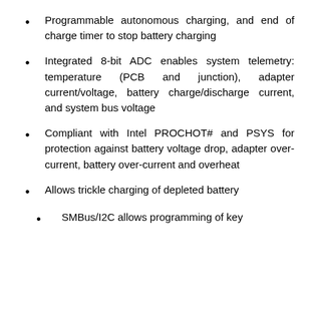Programmable autonomous charging, and end of charge timer to stop battery charging
Integrated 8-bit ADC enables system telemetry: temperature (PCB and junction), adapter current/voltage, battery charge/discharge current, and system bus voltage
Compliant with Intel PROCHOT# and PSYS for protection against battery voltage drop, adapter over-current, battery over-current and overheat
Allows trickle charging of depleted battery
SMBus/I2C allows programming of key